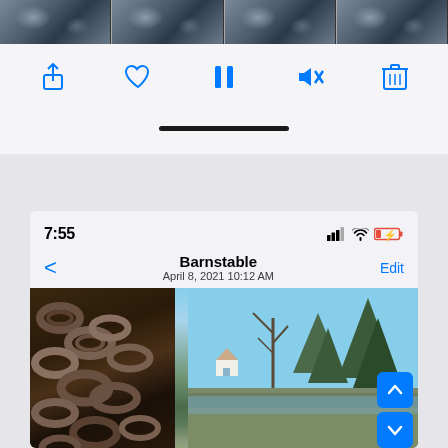[Figure (screenshot): iPhone Photos app showing a slideshow/preview at top with filmstrip of outdoor chain/rock images, toolbar with share/heart/pause/mute/trash icons and home indicator bar]
[Figure (screenshot): iPhone Photos app screenshot showing photo detail view: status bar with time 7:55 and signal/wifi/battery icons, navigation header with back arrow, title 'Barnstable', date 'April 8, 2021 10:12 AM', Edit button, and photo showing rusty chains/equipment on left with trees and water landscape in background, two blue navigation arrow buttons on bottom right]